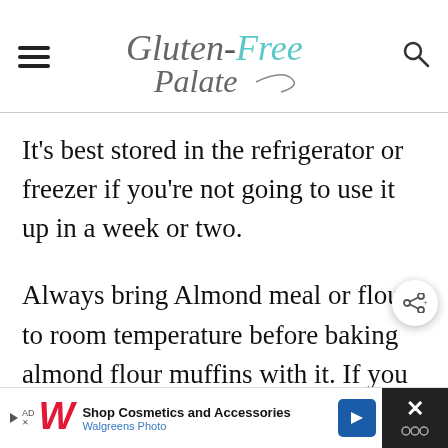Gluten-Free Palate
It's best stored in the refrigerator or freezer if you’re not going to use it up in a week or two.
Always bring Almond meal or flour to room temperature before baking almond flour muffins with it. If you use it cold, it’ll abso… more of the liquid and your batter will be th…
[Figure (other): Walgreens Photo advertisement banner at bottom of page: Shop Cosmetics and Accessories]
[Figure (other): Share button overlay icon]